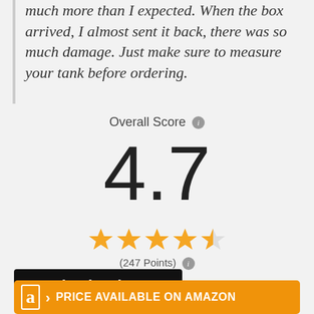much more than I expected. When the box arrived, I almost sent it back, there was so much damage. Just make sure to measure your tank before ordering.
Overall Score
4.7
[Figure (other): 4.5 star rating shown with gold stars (4 full stars and 1 half star)]
(247 Points)
Check Price >
PRICE AVAILABLE ON AMAZON